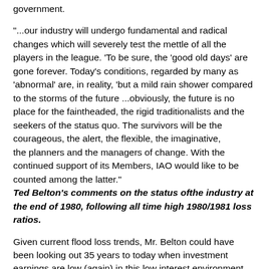government.
"...our industry will undergo fundamental and radical changes which will severely test the mettle of all the players in the league. 'To be sure, the 'good old days' are gone forever. Today's conditions, regarded by many as 'abnormal' are, in reality, 'but a mild rain shower compared to the storms of the future ...obviously, the future is no place for the faintheaded, the rigid traditionalists and the seekers of the status quo. The survivors will be the courageous, the alert, the flexible, the imaginative, the planners and the managers of change. With the continued support of its Members, IAO would like to be counted among the latter."
Ted Belton's comments on the status ofthe industry at the end of 1980, following all time high 1980/1981 loss ratios.
Given current flood loss trends, Mr. Belton could have been looking out 35 years to today when investment earnings are low (again) in this low interest environment, and when extreme rainfall losses are on the rise. Imaginative change is